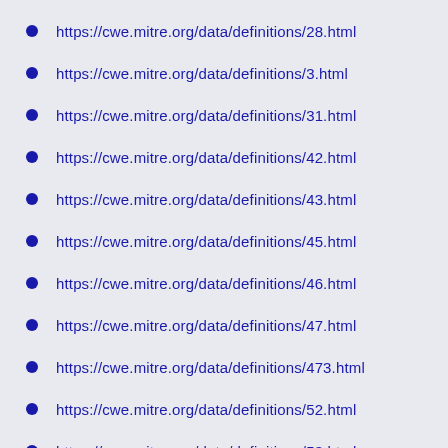https://cwe.mitre.org/data/definitions/28.html
https://cwe.mitre.org/data/definitions/3.html
https://cwe.mitre.org/data/definitions/31.html
https://cwe.mitre.org/data/definitions/42.html
https://cwe.mitre.org/data/definitions/43.html
https://cwe.mitre.org/data/definitions/45.html
https://cwe.mitre.org/data/definitions/46.html
https://cwe.mitre.org/data/definitions/47.html
https://cwe.mitre.org/data/definitions/473.html
https://cwe.mitre.org/data/definitions/52.html
https://cwe.mitre.org/data/definitions/53.html
https://cwe.mitre.org/data/definitions/588.html